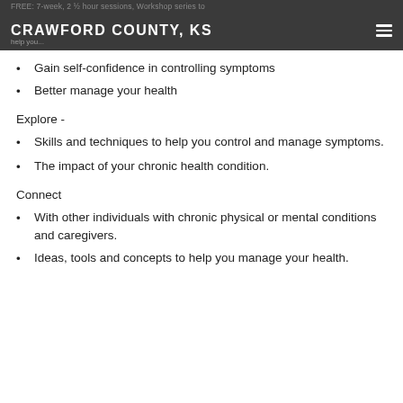FREE: 7-week, 2 ½ hour sessions, Workshop series to help you... CRAWFORD COUNTY, KS
Gain self-confidence in controlling symptoms
Better manage your health
Explore -
Skills and techniques to help you control and manage symptoms.
The impact of your chronic health condition.
Connect
With other individuals with chronic physical or mental conditions and caregivers.
Ideas, tools and concepts to help you manage your health.